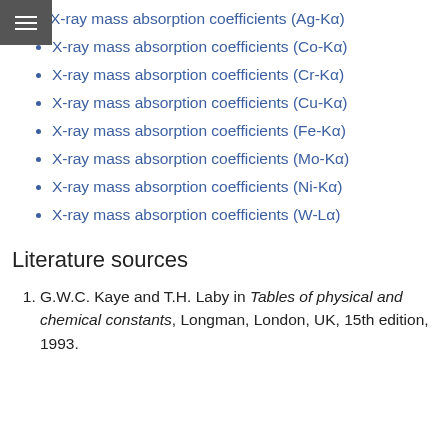X-ray mass absorption coefficients (Ag-Kα)
X-ray mass absorption coefficients (Co-Kα)
X-ray mass absorption coefficients (Cr-Kα)
X-ray mass absorption coefficients (Cu-Kα)
X-ray mass absorption coefficients (Fe-Kα)
X-ray mass absorption coefficients (Mo-Kα)
X-ray mass absorption coefficients (Ni-Kα)
X-ray mass absorption coefficients (W-Lα)
Literature sources
G.W.C. Kaye and T.H. Laby in Tables of physical and chemical constants, Longman, London, UK, 15th edition, 1993.